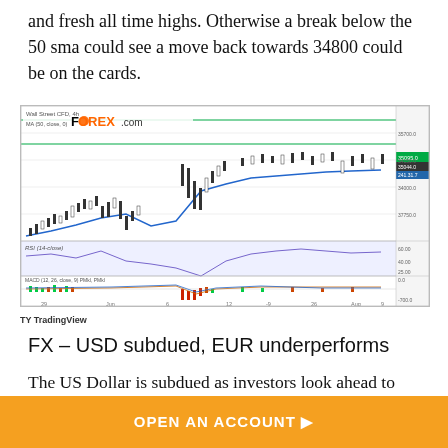and fresh all time highs. Otherwise a break below the 50 sma could see a move back towards 34800 could be on the cards.
[Figure (screenshot): FOREX.com Wall Street CFD 4h candlestick chart with MA indicator, RSI oscillator panel, and MACD histogram panel. Chart shows price action from June through August, with price near highs around 35000. TradingView logo in bottom left.]
TY TradingView
FX – USD subdued, EUR underperforms
The US Dollar is subdued as investors look ahead to the ISM services PMI and Friday's jobs report. The Fed considers that the US economy still has a way to go until